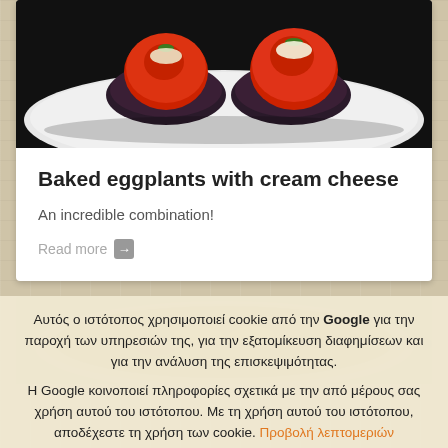[Figure (photo): Baked eggplants topped with cream cheese and tomatoes on a plate]
Baked eggplants with cream cheese
An incredible combination!
Read more →
[Figure (photo): Baked food dish in a pan, second recipe image]
Αυτός ο ιστότοπος χρησιμοποιεί cookie από την Google για την παροχή των υπηρεσιών της, για την εξατομίκευση διαφημίσεων και για την ανάλυση της επισκεψιμότητας.
Η Google κοινοποιεί πληροφορίες σχετικά με την από μέρους σας χρήση αυτού του ιστότοπου. Με τη χρήση αυτού του ιστότοπου, αποδέχεστε τη χρήση των cookie. Προβολή λεπτομεριών
Αποδοχή
[Figure (photo): Third recipe food image at bottom]